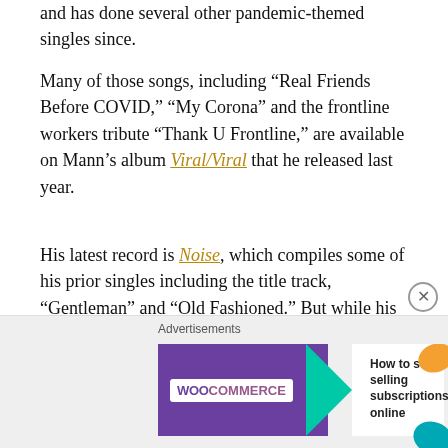and has done several other pandemic-themed singles since.
Many of those songs, including “Real Friends Before COVID,” “My Corona” and the frontline workers tribute “Thank U Frontline,” are available on Mann’s album Viral/Viral that he released last year.
His latest record is Noise, which compiles some of his prior singles including the title track, “Gentleman” and “Old Fashioned.” But while his vocal talents can still blow the doors off any venue, Mann has found a whole new following as a parody artist.
[Figure (other): WooCommerce advertisement banner: purple background with WooCommerce logo, teal arrow, orange decorative shapes, text 'How to start selling subscriptions online']